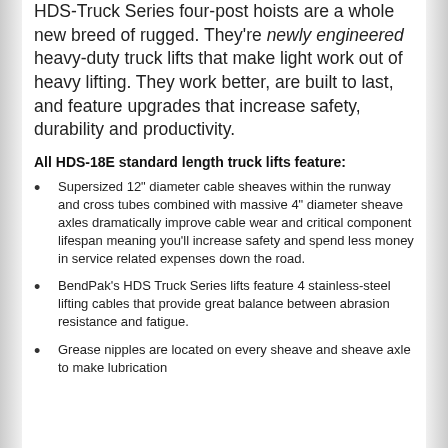HDS-Truck Series four-post hoists are a whole new breed of rugged. They're newly engineered heavy-duty truck lifts that make light work out of heavy lifting. They work better, are built to last, and feature upgrades that increase safety, durability and productivity.
All HDS-18E standard length truck lifts feature:
Supersized 12" diameter cable sheaves within the runway and cross tubes combined with massive 4" diameter sheave axles dramatically improve cable wear and critical component lifespan meaning you'll increase safety and spend less money in service related expenses down the road.
BendPak's HDS Truck Series lifts feature 4 stainless-steel lifting cables that provide great balance between abrasion resistance and fatigue.
Grease nipples are located on every sheave and sheave axle to make lubrication